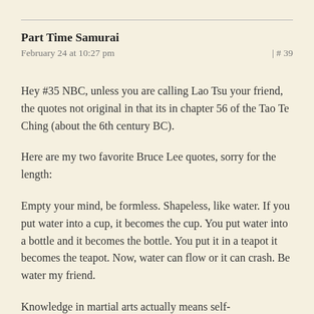Part Time Samurai
February 24 at 10:27 pm | # 39
Hey #35 NBC, unless you are calling Lao Tsu your friend, the quotes not original in that its in chapter 56 of the Tao Te Ching (about the 6th century BC).
Here are my two favorite Bruce Lee quotes, sorry for the length:
Empty your mind, be formless. Shapeless, like water. If you put water into a cup, it becomes the cup. You put water into a bottle and it becomes the bottle. You put it in a teapot it becomes the teapot. Now, water can flow or it can crash. Be water my friend.
Knowledge in martial arts actually means self-